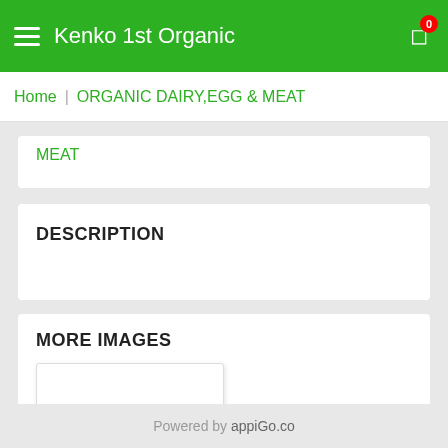Kenko 1st Organic
Home | ORGANIC DAIRY,EGG & MEAT
MEAT
DESCRIPTION
MORE IMAGES
[Figure (other): Blank white image thumbnail placeholder]
Powered by appiGo.co